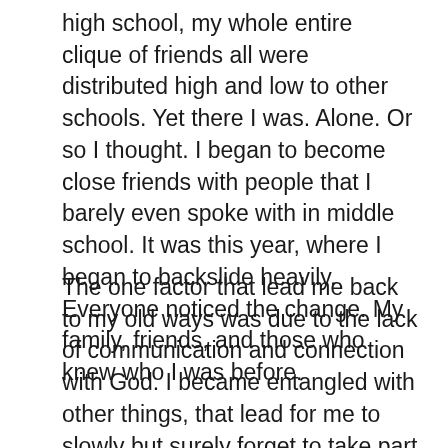high school, my whole entire clique of friends all were distributed high and low to other schools. Yet there I was. Alone. Or so I thought. I began to become close friends with people that I barely even spoke with in middle school. It was this year, where I began to backslide heavily. Everyone noticed the change. My family, friends, and those who knew who I was before.
The one factor that lead me back to my old ways was due to the lack of communication and connection with God. I became entangled with other things, that lead for me to slowly but surely forget to take part in my daily devotions with God. Once you are slacking in the department of communicating with God then you leave room for the enemy to take control. Which is exactly what I did. I opened a door for him and he created a home. I began to fall back into my addiction and the cycle